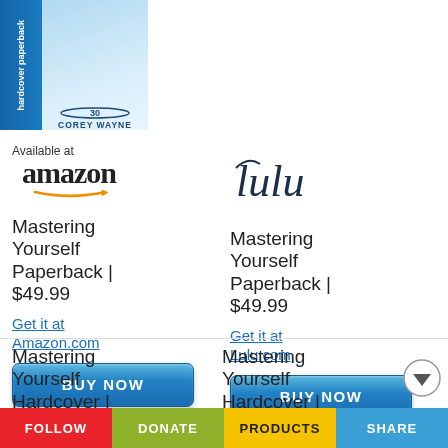[Figure (photo): Book cover image for Mastering Yourself by Corey Wayne, showing paperback and hardcover options with blue spine]
Available at
amazon
[Figure (logo): Lulu logo in cursive dark teal text]
Mastering Yourself Paperback | $49.99
Mastering Yourself Paperback | $49.99
Get it at Amazon.com
Get it at Lulu.com
BUY NOW
BUY NOW
Mastering Yourself Hardcover | $99.99
Mastering Yourself Hardcover | $99.99
Get it at Amazon.com
Get it at Lulu.com
FOLLOW | DONATE | PRODUCTS | SHARE